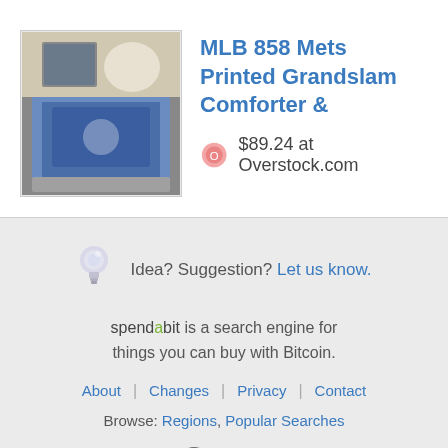[Figure (photo): Product photo of MLB 858 Mets Printed Grandslam Comforter on a bed]
MLB 858 Mets Printed Grandslam Comforter &
$89.24 at Overstock.com
[Figure (illustration): Light bulb icon]
Idea? Suggestion? Let us know.
spendabit is a search engine for things you can buy with Bitcoin.
About | Changes | Privacy | Contact
Browse: Regions, Popular Searches
[Figure (illustration): Social media icons: Twitter, Telegram, document, quill pen]
[soft] copyright © 2022 spendabit.co